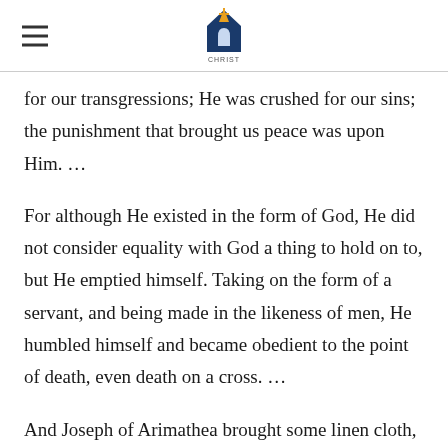CHRIST (logo)
for our transgressions; He was crushed for our sins; the punishment that brought us peace was upon Him. …
For although He existed in the form of God, He did not consider equality with God a thing to hold on to, but He emptied himself. Taking on the form of a servant, and being made in the likeness of men, He humbled himself and became obedient to the point of death, even death on a cross. …
And Joseph of Arimathea brought some linen cloth, took down Jesus' body, wrapped it in the linen, and placed it in a